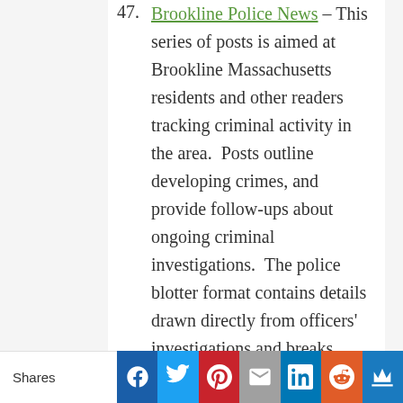47. Brookline Police News – This series of posts is aimed at Brookline Massachusetts residents and other readers tracking criminal activity in the area. Posts outline developing crimes, and provide follow-ups about ongoing criminal investigations. The police blotter format contains details drawn directly from officers' investigations and breaks criminal activity into weekly archives of crimes occurring
Shares [Facebook] [Twitter] [Pinterest] [Email] [LinkedIn] [Reddit] [Crown]